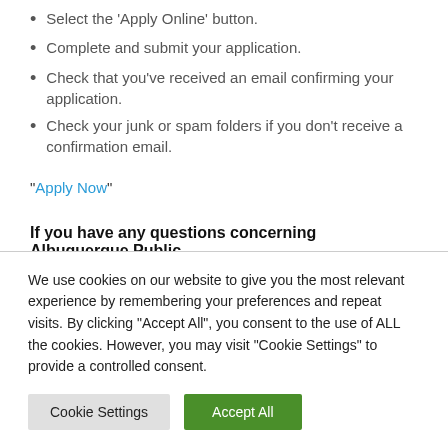Select the 'Apply Online' button.
Complete and submit your application.
Check that you've received an email confirming your application.
Check your junk or spam folders if you don't receive a confirmation email.
"Apply Now"
If you have any questions concerning Albuquerque Public
We use cookies on our website to give you the most relevant experience by remembering your preferences and repeat visits. By clicking "Accept All", you consent to the use of ALL the cookies. However, you may visit "Cookie Settings" to provide a controlled consent.